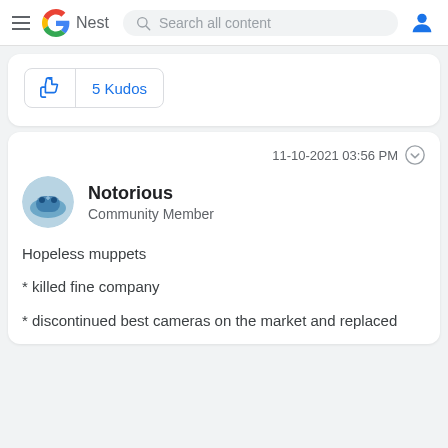Google Nest — Search all content
[Figure (other): Kudos button with thumbs up icon and 5 Kudos count]
11-10-2021 03:56 PM
[Figure (photo): Notorious user avatar — circular profile image with controller/gaming icon on blue background]
Notorious
Community Member
Hopeless muppets
* killed fine company
* discontinued best cameras on the market and replaced with...